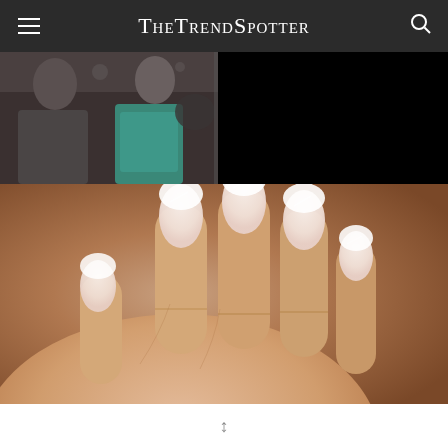TheTrendSpotter
[Figure (photo): Strip of small thumbnail photos of people at events, partially visible at top]
[Figure (photo): Close-up photo of a hand with French tip almond-shaped nails with white tips on a warm brown background]